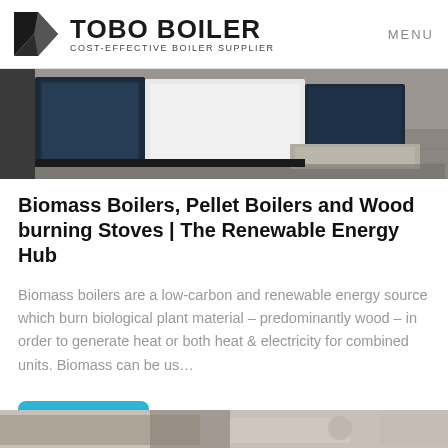TOBO BOILER — COST-EFFECTIVE BOILER SUPPLIER | MENU
[Figure (photo): Interior photo showing industrial boiler equipment in a room with dark navy and white cabinet-style units on a tiled floor.]
Biomass Boilers, Pellet Boilers and Wood burning Stoves | The Renewable Energy Hub
Biomass boilers are a low-carbon and renewable energy source which burn biological plant material – predominantly wood – in order to generate heat or both heat & electricity for combined units. Biomass can be us…
[Figure (photo): Partial photo visible at the bottom of the page showing boiler equipment.]